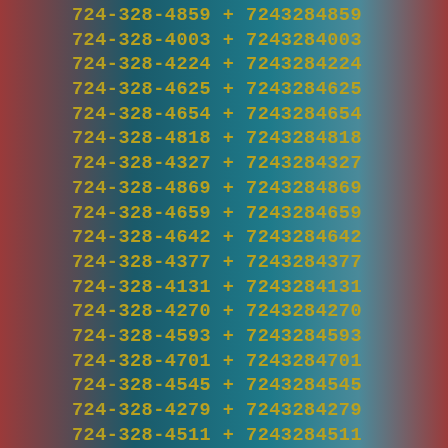724-328-4859  +  7243284859
724-328-4003  +  7243284003
724-328-4224  +  7243284224
724-328-4625  +  7243284625
724-328-4654  +  7243284654
724-328-4818  +  7243284818
724-328-4327  +  7243284327
724-328-4869  +  7243284869
724-328-4659  +  7243284659
724-328-4642  +  7243284642
724-328-4377  +  7243284377
724-328-4131  +  7243284131
724-328-4270  +  7243284270
724-328-4593  +  7243284593
724-328-4701  +  7243284701
724-328-4545  +  7243284545
724-328-4279  +  7243284279
724-328-4511  +  7243284511
724-328-4096  +  7243284096
724-328-4723  +  7243284723
724-328-4528  +  7243284528
724-328-4786  +  7243284786
724-328-4157  +  7243284157